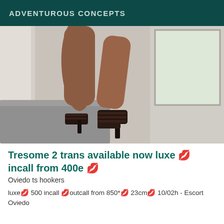ADVENTUROUS CONCEPTS
[Figure (photo): Photo showing legs of a person wearing dark high-heeled sandals, with a grey couch, white curtain, and stone/tile wall visible in the background.]
Tresome 2 trans available now luxe 💋 incall from 400e 💋
Oviedo ts hookers
luxe💋 500 incall 💋outcall from 850*💋 23cm💋 10/02h - Escort Oviedo